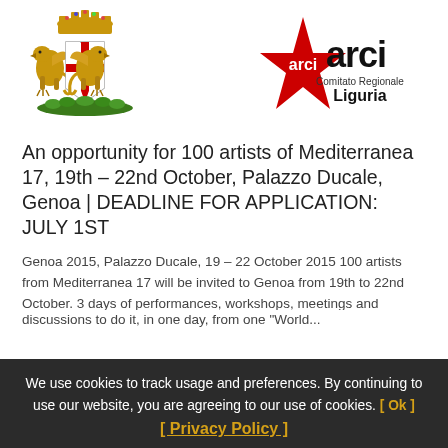[Figure (logo): Genoa city coat of arms: gold griffins flanking a shield with red cross on white, crown on top, green laurel base]
[Figure (logo): ARCI Comitato Regionale Liguria logo: red star with white ARCI letters, text 'Comitato Regionale Liguria' in black]
An opportunity for 100 artists of Mediterranea 17, 19th – 22nd October, Palazzo Ducale, Genoa | DEADLINE FOR APPLICATION: JULY 1ST
Genoa 2015, Palazzo Ducale, 19 – 22 October 2015 100 artists from Mediterranea 17 will be invited to Genoa from 19th to 22nd October. 3 days of performances, workshops, meetings and
We use cookies to track usage and preferences. By continuing to use our website, you are agreeing to our use of cookies. [ Ok ] [ Privacy Policy ]